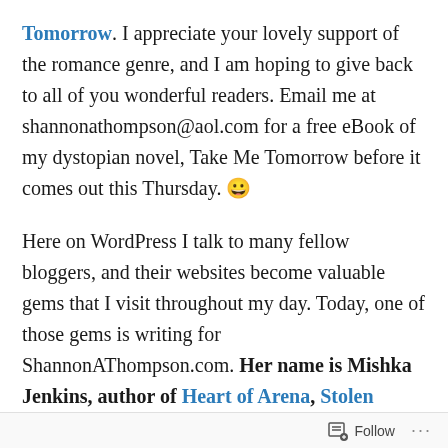Tomorrow. I appreciate your lovely support of the romance genre, and I am hoping to give back to all of you wonderful readers. Email me at shannonathompson@aol.com for a free eBook of my dystopian novel, Take Me Tomorrow before it comes out this Thursday. 😀
Here on WordPress I talk to many fellow bloggers, and their websites become valuable gems that I visit throughout my day. Today, one of those gems is writing for ShannonAThompson.com. Her name is Mishka Jenkins, author of Heart of Arena, Stolen Bloodline, and The Queen's Jester, and host of the fantastic blog, A Writer's Life for Me. She's written a great post about why author write romance, and I hope you enjoy it just as much as I
Follow